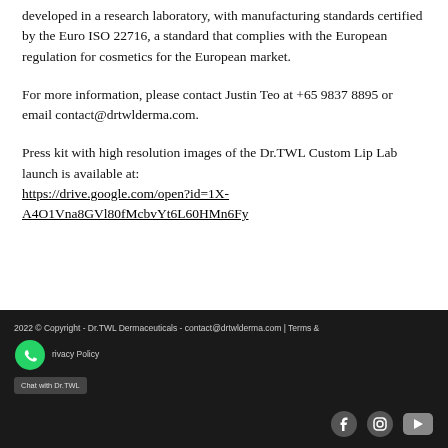developed in a research laboratory, with manufacturing standards certified by the Euro ISO 22716, a standard that complies with the European regulation for cosmetics for the European market.
For more information, please contact Justin Teo at +65 9837 8895 or email contact@drtwlderma.com.
Press kit with high resolution images of the Dr.TWL Custom Lip Lab launch is available at: https://drive.google.com/open?id=1X-A4O1Vna8GVl80fMcbvYt6L60HMn6Fy
2022 © Copyright - Dr.TWL Dermaceuticals - contact@drtwlderma.com | Terms & Conditions | Privacy Policy